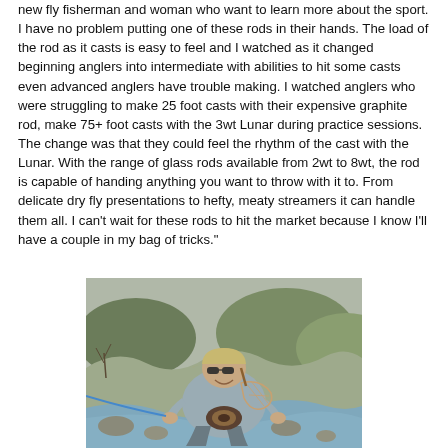new fly fisherman and woman who want to learn more about the sport. I have no problem putting one of these rods in their hands. The load of the rod as it casts is easy to feel and I watched as it changed beginning anglers into intermediate with abilities to hit some casts even advanced anglers have trouble making. I watched anglers who were struggling to make 25 foot casts with their expensive graphite rod, make 75+ foot casts with the 3wt Lunar during practice sessions. The change was that they could feel the rhythm of the cast with the Lunar. With the range of glass rods available from 2wt to 8wt, the rod is capable of handing anything you want to throw with it to. From delicate dry fly presentations to hefty, meaty streamers it can handle them all. I can't wait for these rods to hit the market because I know I'll have a couple in my bag of tricks."
[Figure (photo): A smiling man wearing a cap and sunglasses, crouching by a mountain stream, holding a fly fishing rod with a blue fly line visible. He is wearing a gray jacket and has a fishing net on his back. Rocky riverbank and sparse brush in the background.]